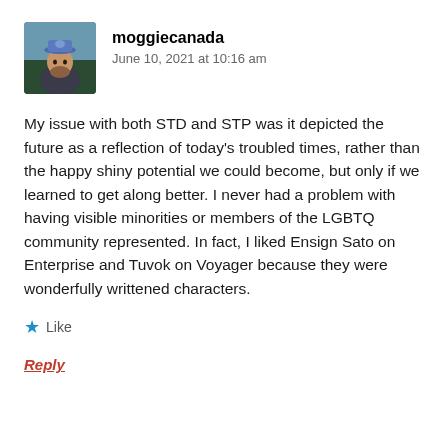[Figure (photo): Avatar photo of user moggiecanada: man wearing a blue cap outdoors]
moggiecanada
June 10, 2021 at 10:16 am
My issue with both STD and STP was it depicted the future as a reflection of today's troubled times, rather than the happy shiny potential we could become, but only if we learned to get along better. I never had a problem with having visible minorities or members of the LGBTQ community represented. In fact, I liked Ensign Sato on Enterprise and Tuvok on Voyager because they were wonderfully writtened characters.
Like
Reply